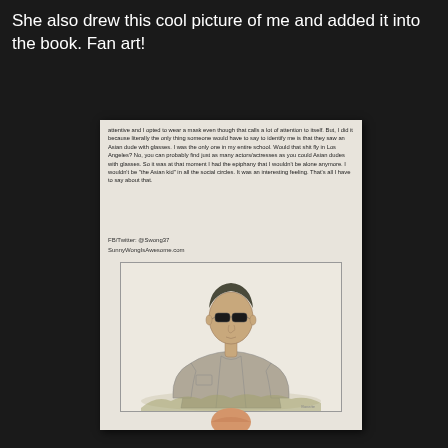She also drew this cool picture of me and added it into the book. Fan art!
[Figure (photo): A photo of a book page showing printed text and a hand-drawn pencil sketch portrait of a person wearing sunglasses and a jacket, with a finger visible at the bottom of the photo holding the page.]